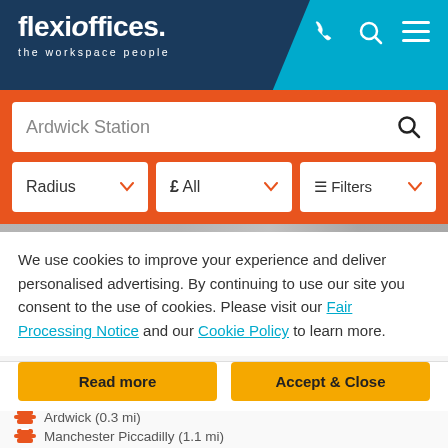[Figure (screenshot): Flexi Offices website header with logo 'flexioffices. the workspace people' on dark navy background, with phone, search and menu icons on cyan background]
[Figure (screenshot): Orange search bar area with 'Ardwick Station' search box and filter dropdowns: Radius, £ All, Filters]
We use cookies to improve your experience and deliver personalised advertising. By continuing to use our site you consent to the use of cookies. Please visit our Fair Processing Notice and our Cookie Policy to learn more.
[Figure (screenshot): Two yellow buttons: 'Read more' and 'Accept & Close']
Meeting rooms   Furnished
Ardwick (0.3 mi)
Manchester Piccadilly (1.1 mi)